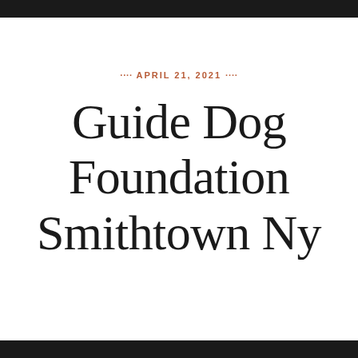···· APRIL 21, 2021 ····
Guide Dog Foundation Smithtown Ny